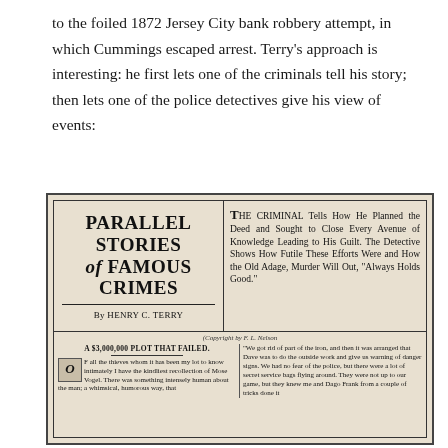to the foiled 1872 Jersey City bank robbery attempt, in which Cummings escaped arrest. Terry's approach is interesting: he first lets one of the criminals tell his story; then lets one of the police detectives give his view of events:
[Figure (other): Newspaper clipping showing 'PARALLEL STORIES of FAMOUS CRIMES By HENRY C. TERRY' on the left panel with a decorative headline, and on the right panel text beginning 'THE CRIMINAL Tells How He Planned the Deed and Sought to Close Every Avenue of Knowledge Leading to His Guilt. The Detective Shows How Futile These Efforts Were and How the Old Adage, Murder Will Out, Always Holds Good.' Below is copyright line '(Copyright by F. L. Nelson' and two-column article text beginning 'A $3,000,000 PLOT THAT FAILED.' with drop cap O beginning 'F all the thieves whom it has been my lot to know intimately I have the kindliest recollection of Mose Vogel. There was something intensely human about the man; a whimsical, humorous way, that' and right column text 'We got rid of part of the iron, and then it was arranged that Dave was to do the outside work and give us warning of danger signs. We had no fear of the police, but there were a lot of secret service bags flying around. They were not up to our game, but they knew me and Dago Frank from a couple of tricks done it']